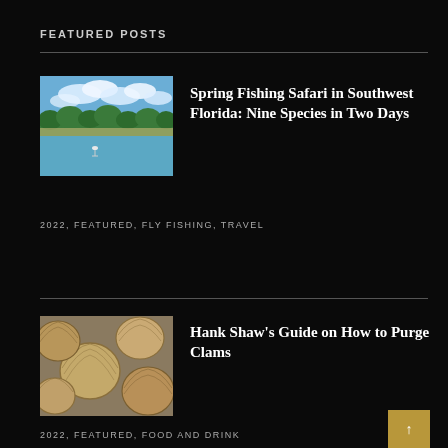FEATURED POSTS
[Figure (photo): A coastal Florida waterway with turquoise water, trees and shoreline in background, bird visible in water]
Spring Fishing Safari in Southwest Florida: Nine Species in Two Days
2022, FEATURED, FLY FISHING, TRAVEL
[Figure (photo): Close-up photograph of clams/shellfish, showing round shells with ridged texture]
Hank Shaw's Guide on How to Purge Clams
2022, FEATURED, FOOD AND DRINK